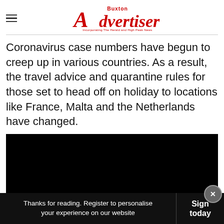Buxton Advertiser — Incorporating The Herald and High Peak News
Coronavirus case numbers have begun to creep up in various countries. As a result, the travel advice and quarantine rules for those set to head off on holiday to locations like France, Malta and the Netherlands have changed.
[Figure (photo): Black image placeholder / video embed area]
Thanks for reading. Register to personalise your experience on our website